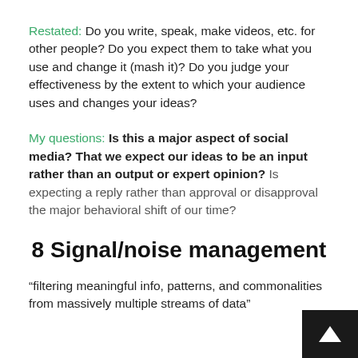Restated: Do you write, speak, make videos, etc. for other people? Do you expect them to take what you use and change it (mash it)? Do you judge your effectiveness by the extent to which your audience uses and changes your ideas?
My questions: Is this a major aspect of social media? That we expect our ideas to be an input rather than an output or expert opinion? Is expecting a reply rather than approval or disapproval the major behavioral shift of our time?
8 Signal/noise management
“filtering meaningful info, patterns, and commonalities from massively multiple streams of data"